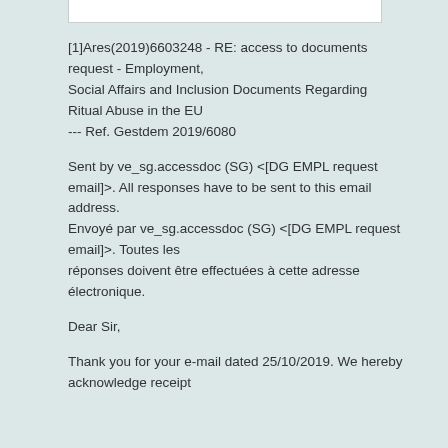[1]Ares(2019)6603248 - RE: access to documents request - Employment, Social Affairs and Inclusion Documents Regarding Ritual Abuse in the EU --- Ref. Gestdem 2019/6080
Sent by ve_sg.accessdoc (SG) <[DG EMPL request email]>. All responses have to be sent to this email address. Envoyé par ve_sg.accessdoc (SG) <[DG EMPL request email]>. Toutes les réponses doivent être effectuées à cette adresse électronique.
Dear Sir,
Thank you for your e-mail dated 25/10/2019. We hereby acknowledge receipt